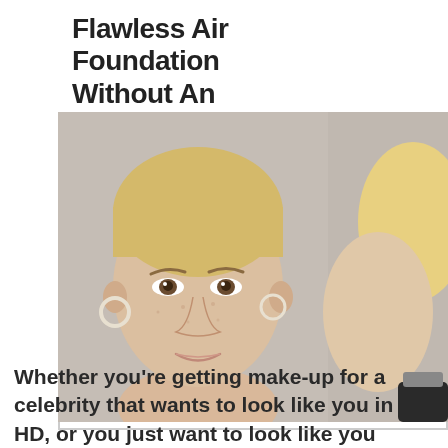Flawless Airbrush Foundation Without An ...
[Figure (photo): A blonde woman with short hair photographed without makeup, alongside a partial view of another person. The image appears to illustrate a before/after or celebrity comparison for a beauty article.]
Whether you're getting make-up for a celebrity that wants to look like you in HD, or you just want to look like you